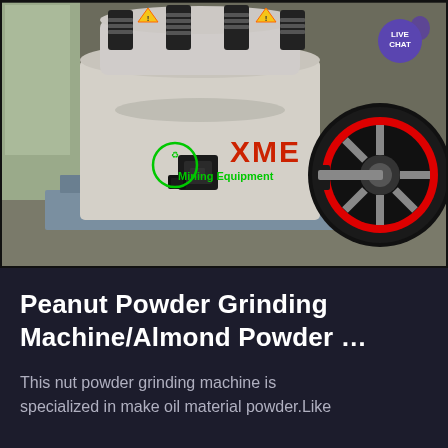[Figure (photo): Industrial cone crusher / grinding machine by XME (Mining Equipment brand). Large white/grey industrial machine with black cylindrical crushing chamber on top, red and black flywheel visible on the right side, blue metal frame base. XME logo (green recycling symbol + red XME text + green 'Mining Equipment' text) overlaid on the machine photo. 'LIVE CHAT' button in purple in top-right corner.]
Peanut Powder Grinding Machine/Almond Powder …
This nut powder grinding machine is specialized in make oil material powder.Like